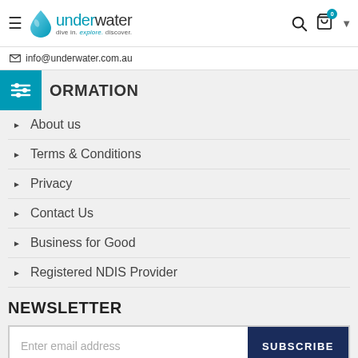underwater — dive in. explore. discover. | info@underwater.com.au
INFORMATION
About us
Terms & Conditions
Privacy
Contact Us
Business for Good
Registered NDIS Provider
NEWSLETTER
Enter email address | SUBSCRIBE